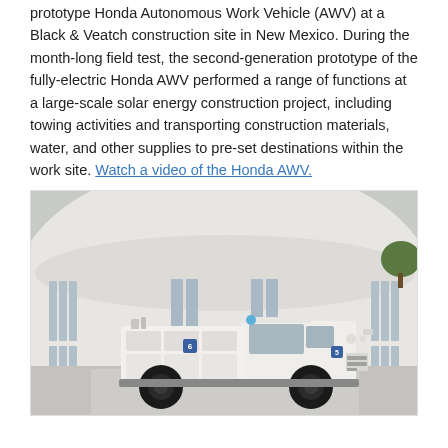prototype Honda Autonomous Work Vehicle (AWV) at a Black & Veatch construction site in New Mexico. During the month-long field test, the second-generation prototype of the fully-electric Honda AWV performed a range of functions at a large-scale solar energy construction project, including towing activities and transporting construction materials, water, and other supplies to pre-set destinations within the work site. Watch a video of the Honda AWV.
[Figure (photo): A white Honda Autonomous Work Vehicle (AWV) parked in front of a large curved white building with glass windows. The vehicle resembles a boxy utility truck with black wheels.]